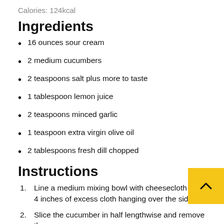Calories: 124kcal
Ingredients
16 ounces sour cream
2 medium cucumbers
2 teaspoons salt plus more to taste
1 tablespoon lemon juice
2 teaspoons minced garlic
1 teaspoon extra virgin olive oil
2 tablespoons fresh dill chopped
Instructions
1. Line a medium mixing bowl with cheesecloth with 4 inches of excess cloth hanging over the sides.
2. Slice the cucumber in half lengthwise and remove the